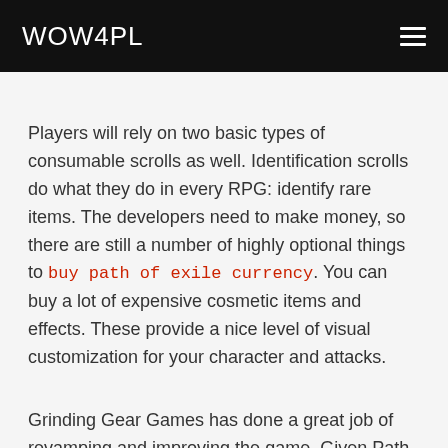WOW4PL
Players will rely on two basic types of consumable scrolls as well. Identification scrolls do what they do in every RPG: identify rare items. The developers need to make money, so there are still a number of highly optional things to buy path of exile currency. You can buy a lot of expensive cosmetic items and effects. These provide a nice level of visual customization for your character and attacks.
Grinding Gear Games has done a great job of revamping and improving the game. Given Path of Exile's history on